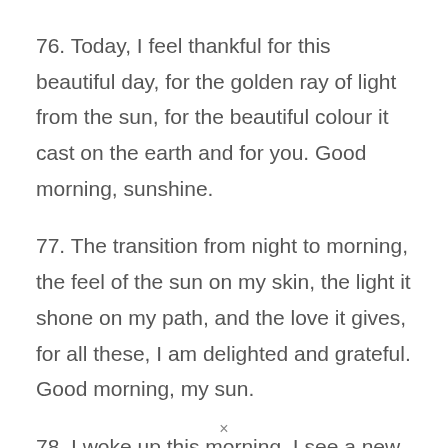76. Today, I feel thankful for this beautiful day, for the golden ray of light from the sun, for the beautiful colour it cast on the earth and for you. Good morning, sunshine.
77. The transition from night to morning, the feel of the sun on my skin, the light it shone on my path, and the love it gives, for all these, I am delighted and grateful. Good morning, my sun.
78. I woke up this morning, I see a new day, I see a new opportunity, I see a new beginning
×